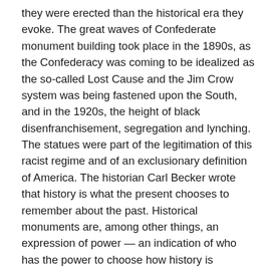they were erected than the historical era they evoke. The great waves of Confederate monument building took place in the 1890s, as the Confederacy was coming to be idealized as the so-called Lost Cause and the Jim Crow system was being fastened upon the South, and in the 1920s, the height of black disenfranchisement, segregation and lynching. The statues were part of the legitimation of this racist regime and of an exclusionary definition of America. The historian Carl Becker wrote that history is what the present chooses to remember about the past. Historical monuments are, among other things, an expression of power — an indication of who has the power to choose how history is remembered in public places. If the issue were simply heritage, why are there no statues of Lt. Gen. James Longstreet, one of Gen. Robert E. Lee's key lieutenants? Not because of poor